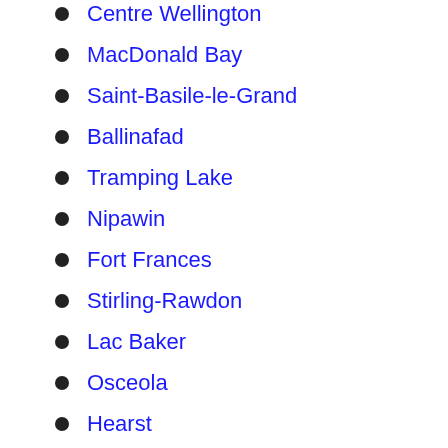Centre Wellington
MacDonald Bay
Saint-Basile-le-Grand
Ballinafad
Tramping Lake
Nipawin
Fort Frances
Stirling-Rawdon
Lac Baker
Osceola
Hearst
Duffy